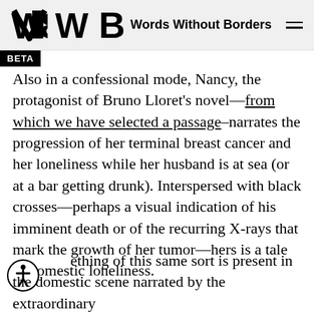Words Without Borders
Also in a confessional mode, Nancy, the protagonist of Bruno Lloret's novel—from which we have selected a passage–narrates the progression of her terminal breast cancer and her loneliness while her husband is at sea (or at a bar getting drunk). Interspersed with black crosses—perhaps a visual indication of his imminent death or of the recurring X-rays that mark the growth of her tumor—hers is a tale of domestic loneliness.
Something of this same sort is present in the domestic scene narrated by the extraordinary